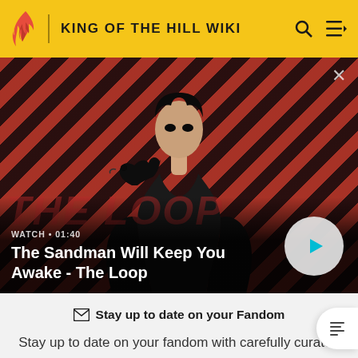KING OF THE HILL WIKI
[Figure (screenshot): Video thumbnail for 'The Sandman Will Keep You Awake - The Loop' with dark-cloaked figure holding a raven against a red diagonal-striped background. Shows WATCH • 01:40 label and a play button.]
Stay up to date on your Fandom
Stay up to date on your fandom with carefully curated and timely Fandom newsletters.